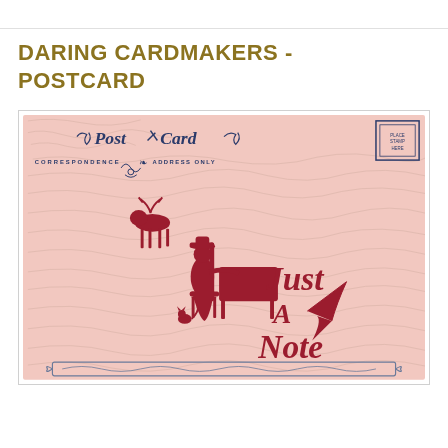DARING CARDMAKERS - POSTCARD
[Figure (illustration): A vintage postcard design with a pink/blush background covered in cursive handwriting script. At the top in dark blue/navy decorative text reads 'POST CARD' with ornamental swirls and 'CORRESPONDENCE' and 'ADDRESS ONLY' printed. A small stamp box in upper right reads 'PLACE STAMP HERE'. In the center-left is a red/crimson silhouette illustration of a woman sitting at a writing desk or sewing machine with a deer figure behind her and a small cat at her feet. To the right in large red decorative letters reads 'JUST A NOTE' with a feather quill graphic. At the bottom is a decorative blue banner/ribbon element.]